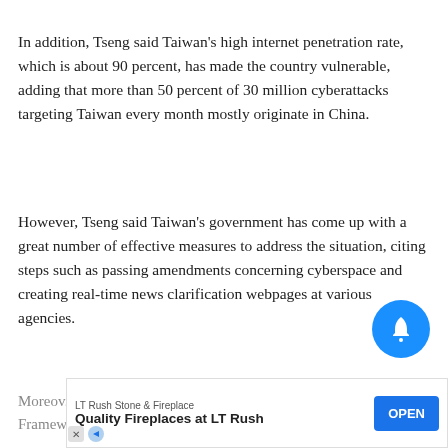In addition, Tseng said Taiwan's high internet penetration rate, which is about 90 percent, has made the country vulnerable, adding that more than 50 percent of 30 million cyberattacks targeting Taiwan every month mostly originate in China.
However, Tseng said Taiwan's government has come up with a great number of effective measures to address the situation, citing steps such as passing amendments concerning cyberspace and creating real-time news clarification webpages at various agencies.
Moreov... Framew... and
[Figure (other): Blue circular notification bell button in bottom-right area of page]
[Figure (other): Advertisement banner for LT Rush Stone & Fireplace with text 'Quality Fireplaces at LT Rush' and an OPEN button]